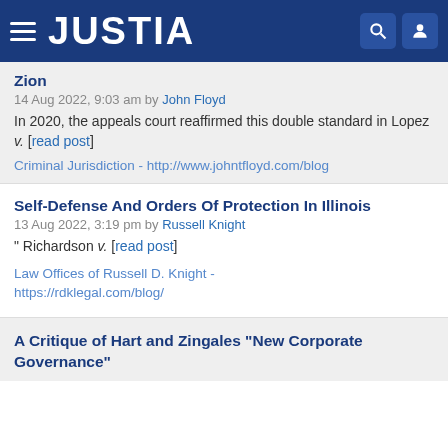JUSTIA
Zion
14 Aug 2022, 9:03 am by John Floyd
In 2020, the appeals court reaffirmed this double standard in Lopez v. [read post]
Criminal Jurisdiction - http://www.johntfloyd.com/blog
Self-Defense And Orders Of Protection In Illinois
13 Aug 2022, 3:19 pm by Russell Knight
" Richardson v. [read post]
Law Offices of Russell D. Knight - https://rdklegal.com/blog/
A Critique of Hart and Zingales "New Corporate Governance"